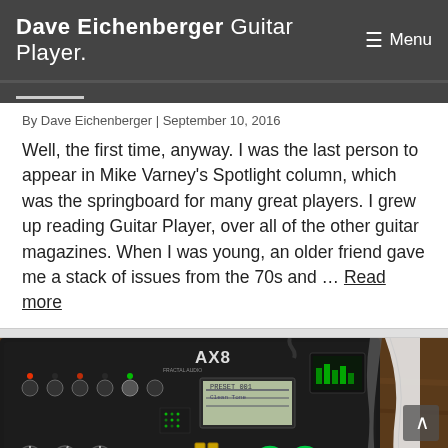Dave Eichenberger Guitar Player. ≡ Menu
By Dave Eichenberger | September 10, 2016
Well, the first time, anyway. I was the last person to appear in Mike Varney's Spotlight column, which was the springboard for many great players. I grew up reading Guitar Player, over all of the other guitar magazines. When I was young, an older friend gave me a stack of issues from the 70s and … Read more
[Figure (photo): Photo of a guitar multi-effects pedal unit (labeled AX8) on a wooden surface with cables connected, viewed from above at an angle.]